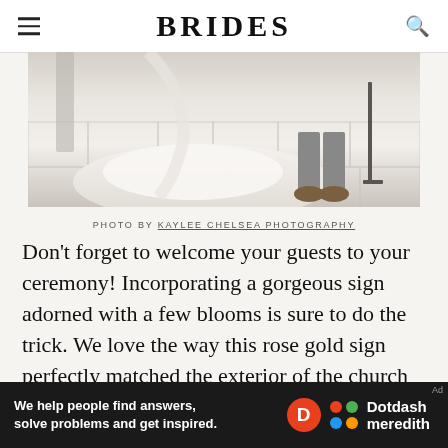BRIDES
[Figure (photo): Wedding photo showing a bride's white gown train and a groom's feet on a marble floor interior]
PHOTO BY KAYLEE CHELSEA PHOTOGRAPHY
Don't forget to welcome your guests to your ceremony! Incorporating a gorgeous sign adorned with a few blooms is sure to do the trick. We love the way this rose gold sign perfectly matched the exterior of the church to create a gorgeous display.
[Figure (other): Advertisement banner: We help people find answers, solve problems and get inspired. Dotdash Meredith logo.]